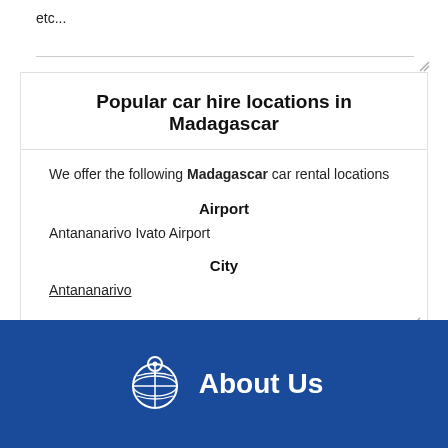etc...
Popular car hire locations in Madagascar
We offer the following Madagascar car rental locations
Airport
Antananarivo Ivato Airport
City
Antananarivo
[Figure (logo): Globe icon with location pin, followed by 'About Us' text in white on blue background]